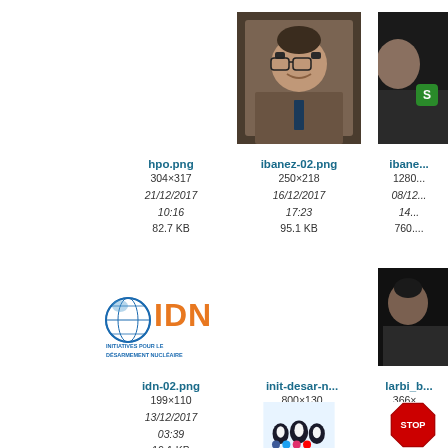[Figure (photo): Photo of a man with glasses in a suit, dark background]
[Figure (photo): Partial photo of a person, dark background with green icon]
hpo.png
304×317
21/12/2017
10:16
82.7 KB
ibanez-02.png
250×218
16/12/2017
17:23
95.1 KB
ibanez...
1280...
08/12...
14...
760....
[Figure (logo): IDN logo - globe with IDN text, Initiatives pour le désarmement nucléaire]
[Figure (photo): Partial photo of a person speaking, dark background]
idn-02.png
199×110
13/12/2017
03:39
19.1 KB
init-desar-n...
800×130
13/12/2017
03:34
21.2 KB
larbi_b...
366×...
13/02/...
12...
8.7...
[Figure (illustration): Group of cartoon penguins with social media icons]
[Figure (illustration): Partial image with STOP sign element]